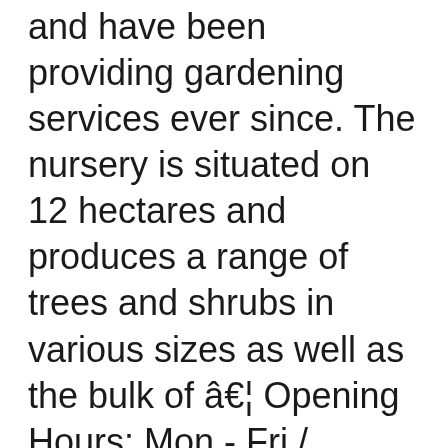and have been providing gardening services ever since. The nursery is situated on 12 hectares and produces a range of trees and shrubs in various sizes as well as the bulk of â€¦ Opening Hours: Mon - Fri / 7:30AM - 5:00PM Sat - Sun / 8:30AM - 5:00PM Selling agent Neil Keene of LJ Hooker Dural described the property as â€œthe opportunity of a lifetimeâ€ in the online listing. Native plants are more interesting than you think, this video will give you a few ideas on what to plant and how to look after them. Blueberry Burst blueberries arrived yesterday. Impeccably bred pomsky and